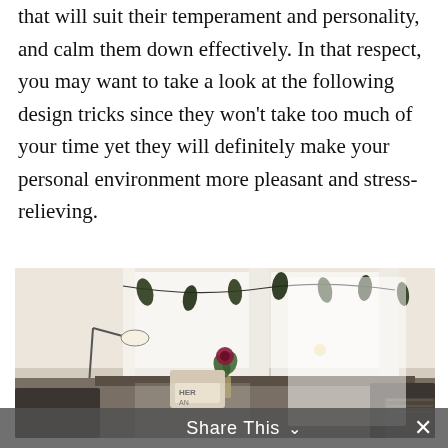that will suit their temperament and personality, and calm them down effectively. In that respect, you may want to take a look at the following design tricks since they won't take too much of your time yet they will definitely make your personal environment more pleasant and stress-relieving.
[Figure (photo): Interior room photo showing a cozy workspace or living area with white curtains letting in light, a floor lamp, decorative string lights with leaf-shaped ornaments hanging across the top, a small vase with a dark red flower on a table, cushions, and various furniture items in warm neutral tones. A 'Share This' bar with a chevron and close button overlays the bottom of the image.]